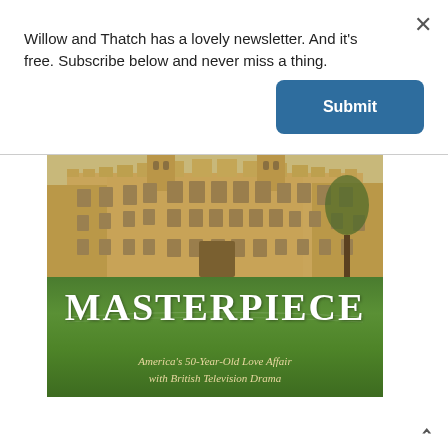Willow and Thatch has a lovely newsletter. And it's free. Subscribe below and never miss a thing.
[Figure (other): A blue 'Submit' button for newsletter subscription]
[Figure (photo): Book cover for 'MASTERPIECE: America's 50-Year-Old Love Affair with British Television Drama' featuring a photo of a grand English country house (Highclere Castle) above a green lawn, with the title 'MASTERPIECE' in large serif letters and the subtitle in italic script below.]